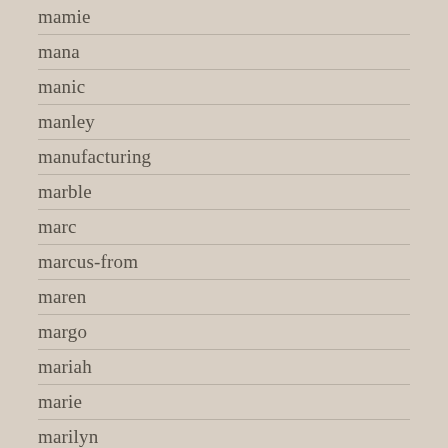mamie
mana
manic
manley
manufacturing
marble
marc
marcus-from
maren
margo
mariah
marie
marilyn
marina
mark
marking